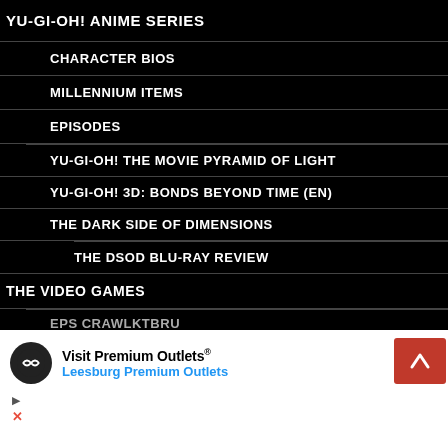YU-GI-OH! ANIME SERIES
CHARACTER BIOS
MILLENNIUM ITEMS
EPISODES
YU-GI-OH! THE MOVIE PYRAMID OF LIGHT
YU-GI-OH! 3D: BONDS BEYOND TIME (EN)
THE DARK SIDE OF DIMENSIONS
THE DSOD BLU-RAY REVIEW
THE VIDEO GAMES
EPS CRAWLKTBRU
[Figure (infographic): Advertisement banner for Visit Premium Outlets / Leesburg Premium Outlets with navigation icon and back button]